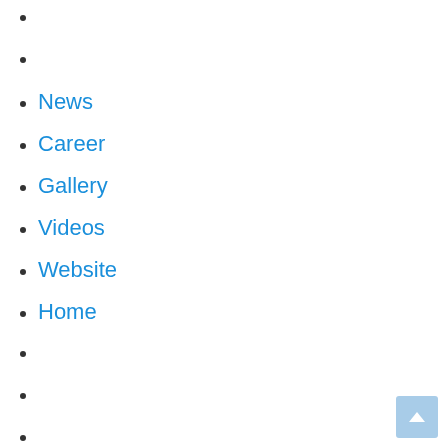News
Career
Gallery
Videos
Website
Home
News
Career
Gallery
Videos
Website
Home